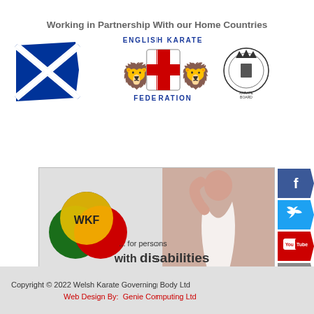Working in Partnership With our Home Countries
[Figure (logo): Scotland flag logo - blue flag with white saltire cross]
[Figure (logo): English Karate Federation logo with shield and lions]
[Figure (logo): Welsh Karate Board logo - circular emblem]
[Figure (illustration): WKF banner showing colored circles with WKF text and karate practitioner, text reads '... for persons with disabilities']
[Figure (logo): Facebook social media button]
[Figure (logo): Twitter social media button]
[Figure (logo): YouTube social media button]
[Figure (logo): Email/envelope social media button]
Copyright © 2022 Welsh Karate Governing Body Ltd
Web Design By:  Genie Computing Ltd